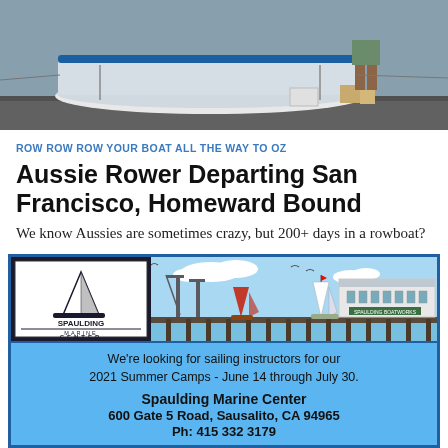[Figure (photo): Aerial/side view of a boat or rowboat on a hard surface (dock/pavement), with a person standing nearby and some equipment boxes visible.]
ROW ROW ROW YOUR BOAT ALL THE WAY TO OZ
Aussie Rower Departing San Francisco, Homeward Bound
We know Aussies are sometimes crazy, but 200+ days in a rowboat?
[Figure (illustration): Spaulding Marine Center advertisement illustration showing a harbor scene with sailboats, cranes, and the Spaulding Boatworks building, with the Spaulding Marine Center logo on the left.]
We're looking for sailing instructors for our 2021 Summer Camps - June 14 through July 30.

Spaulding Marine Center
600 Gate 5 Road, Sausalito, CA 94965
Ph: 415 332 3179